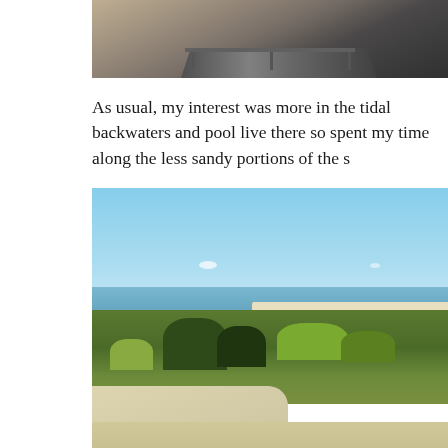[Figure (photo): Top portion of a photo showing wooden boardwalk railing with a sandy/textured background visible behind it]
As usual, my interest was more in the tidal backwaters and pool live there so spent my time along the less sandy portions of the s
[Figure (photo): Coastal landscape photograph showing a bright blue sky, calm water in the background, dense low shrubby green vegetation in the middle ground, sandy paths and dunes in the foreground]